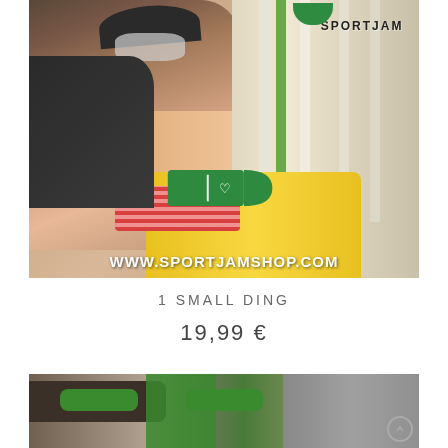[Figure (photo): Photo of a person wearing a mask and cap working on a colorful surfboard in a surf shop, with surfboards racked in the background. Website URL www.sportjamshop.com overlaid at bottom, SPORTJAM logo text at top right, and a green D-shaped icon overlay with heart symbol in the center.]
1 SMALL DING
19,99 €
[Figure (photo): Partial photo at bottom of page showing bike/cycling equipment in a shop with green accents and an up-arrow navigation button.]